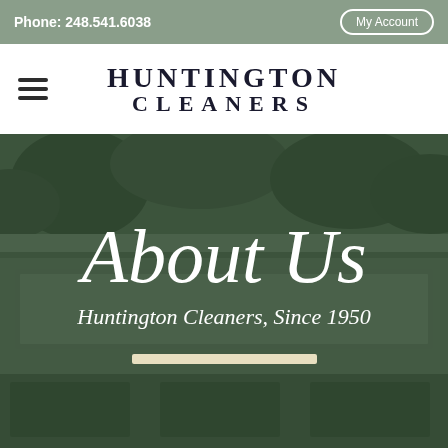Phone: 248.541.6038 | My Account
HUNTINGTON CLEANERS
[Figure (photo): Black and white exterior photo of Huntington Cleaners storefront with trees visible above the building, overlaid with a dark green tint. Displays large cursive 'About Us' heading, italic subtitle 'Huntington Cleaners, Since 1950', and a cream-colored horizontal divider bar.]